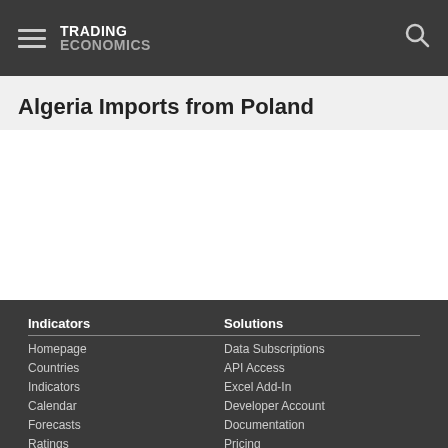TRADING ECONOMICS
Algeria Imports from Poland
Indicators: Homepage, Countries, Indicators, Calendar, Forecasts, Ratings | Solutions: Data Subscriptions, API Access, Excel Add-In, Developer Account, Documentation, Pricing